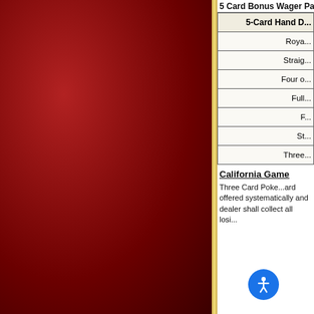5 Card Bonus Wager Pa...
| 5-Card Hand D... |
| --- |
| Roya... |
| Straig... |
| Four o... |
| Full... |
| F... |
| St... |
| Three... |
California Game
Three Card Poke...ard ...offered systematically and...dealer shall collect all losi...